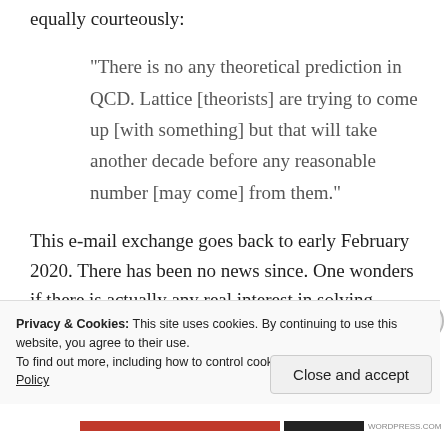equally courteously:
“There is no any theoretical prediction in QCD. Lattice [theorists] are trying to come up [with something] but that will take another decade before any reasonable  number [may come] from them.”
This e-mail exchange goes back to early February 2020. There has been no news since. One wonders if there is actually any real interest in solving puzzles. The physicist who wrote the above may have been
Privacy & Cookies: This site uses cookies. By continuing to use this website, you agree to their use.
To find out more, including how to control cookies, see here: Cookie Policy
Close and accept